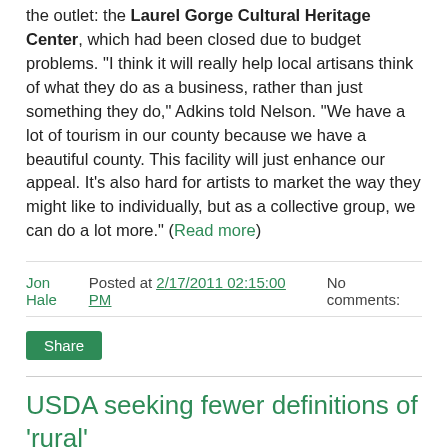the outlet: the Laurel Gorge Cultural Heritage Center, which had been closed due to budget problems. "I think it will really help local artisans think of what they do as a business, rather than just something they do," Adkins told Nelson. "We have a lot of tourism in our county because we have a beautiful county. This facility will just enhance our appeal. It's also hard for artists to market the way they might like to individually, but as a collective group, we can do a lot more." (Read more)
Jon Hale Posted at 2/17/2011 02:15:00 PM    No comments:
Share
USDA seeking fewer definitions of 'rural'
The U.S. Department of Agriculture's Rural Development program is designed to provide economic development funding to rural communities, but the program's